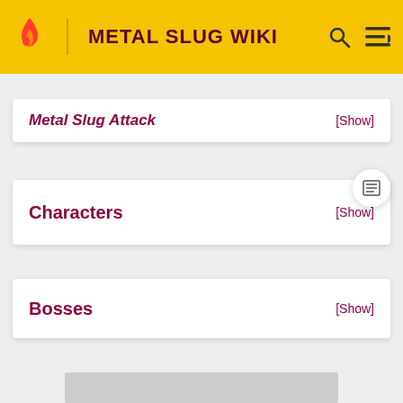METAL SLUG WIKI
Metal Slug Attack [Show]
Characters [Show]
Bosses [Show]
[Figure (other): Gray placeholder rectangle representing an image or advertisement]